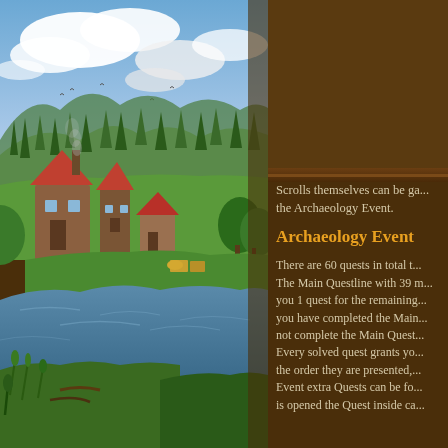[Figure (illustration): Fantasy landscape painting showing a riverside village with medieval-style buildings, green trees, rolling hills, and cloudy sky]
[Figure (screenshot): Game UI element showing a green card item with a '0' counter and parchment scrolls in a wooden shelf area]
Scrolls themselves can be ga... the Archaeology Event.
Archaeology Event
There are 60 quests in total t... The Main Questline with 39 m... you 1 quest for the remaining... you have completed the Main... not complete the Main Quest... Every solved quest grants yo... the order they are presented,... Event extra Quests can be fo... is opened the Quest inside ca...